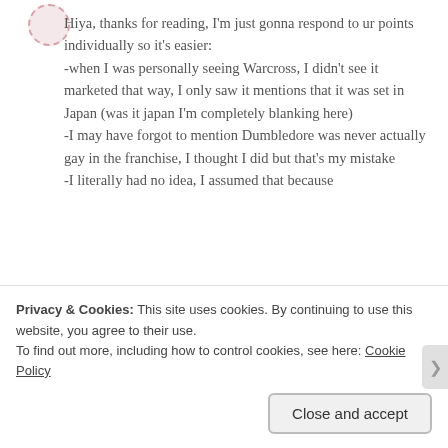[Figure (illustration): Partial circular avatar icon with pink dashed border]
Hiya, thanks for reading, I'm just gonna respond to ur points individually so it's easier:
-when I was personally seeing Warcross, I didn't see it marketed that way, I only saw it mentions that it was set in Japan (was it japan I'm completely blanking here)
-I may have forgot to mention Dumbledore was never actually gay in the franchise, I thought I did but that's my mistake
-I literally had no idea, I assumed that because
Privacy & Cookies: This site uses cookies. By continuing to use this website, you agree to their use.
To find out more, including how to control cookies, see here: Cookie Policy
Close and accept